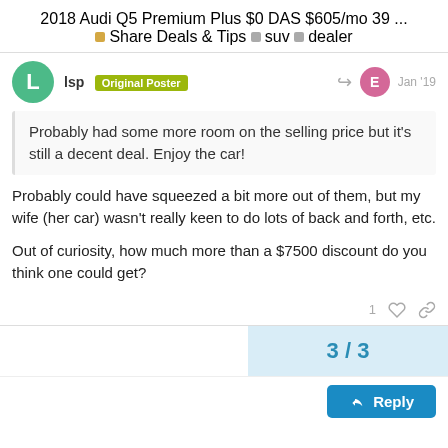2018 Audi Q5 Premium Plus $0 DAS $605/mo 39 ...
Share Deals & Tips  suv  dealer
lsp Original Poster  Jan '19
Probably had some more room on the selling price but it's still a decent deal. Enjoy the car!
Probably could have squeezed a bit more out of them, but my wife (her car) wasn't really keen to do lots of back and forth, etc.
Out of curiosity, how much more than a $7500 discount do you think one could get?
1
3 / 3
Reply